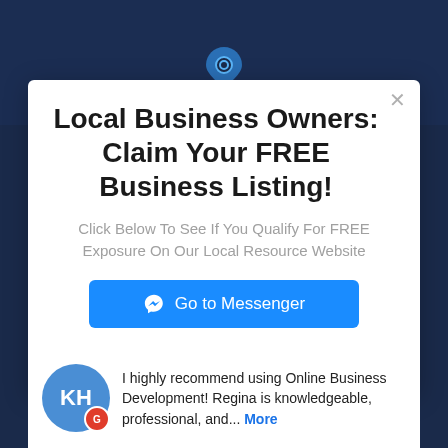Online Business Development LLC
Local Business Owners: Claim Your FREE Business Listing!
Click Below To See If You Qualify For FREE Exposure On Our Local Resource Website
Go to Messenger
Powered by ManyChat
I highly recommend using Online Business Development! Regina is knowledgeable, professional, and... More